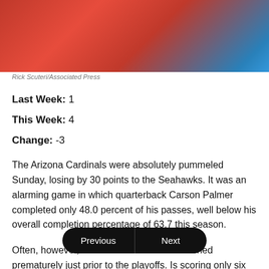[Figure (photo): Blurred photo with red and blue tones, likely an Arizona Cardinals game image]
Rick Scuteri/Associated Press
Last Week: 1
This Week: 4
Change: -3
The Arizona Cardinals were absolutely pummeled Sunday, losing by 30 points to the Seahawks. It was an alarming game in which quarterback Carson Palmer completed only 48.0 percent of his passes, well below his overall completion percentage of 63.7 this season.
Often, however, are mashed prematurely just prior to the playoffs. Is scoring only six